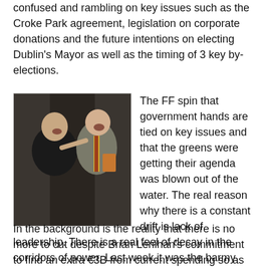confused and rambling on key issues such as the Croke Park agreement, legislation on corporate donations and the future intentions on electing Dublin's Mayor as well as the timing of 3 key by-elections.
[Figure (photo): Two men in suits laughing and gesturing at each other outdoors]
The FF spin that government hands are tied on key issues and that the greens were getting their agenda was blown out of the water. The real reason why there is a constant drift is lack of leadership. There is a real feel of decay in the corridors of power, Last week it was the barmy idea that charging holders of ATM cards to withdraw their own money would deter Tiger kidnappings. This week the Science Minister was on the verge of launching a book denying evolution.
In the background is the reality that there is no more to cut despite Brian Lenihan's commitment to find an extra €3B from current spending so as to keep on target. The next budget is in €10 and ...